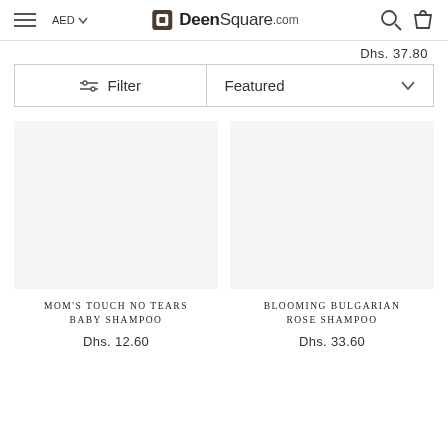DeenSquare.com — AED | Search | Cart
Dhs. 37.80
Filter | Featured
MOM'S TOUCH NO TEARS BABY SHAMPOO
Dhs. 12.60
BLOOMING BULGARIAN ROSE SHAMPOO
Dhs. 33.60